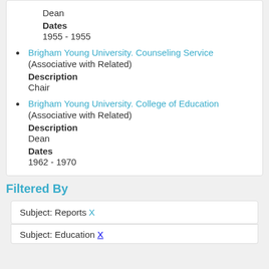Dean
Dates
1955 - 1955
Brigham Young University. Counseling Service (Associative with Related) Description: Chair
Brigham Young University. College of Education (Associative with Related) Description: Dean Dates: 1962 - 1970
Filtered By
Subject: Reports X
Subject: Education X